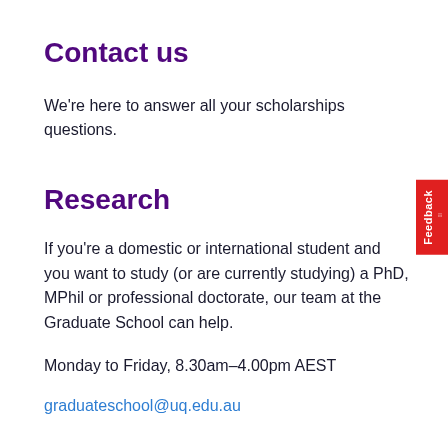Contact us
We're here to answer all your scholarships questions.
Research
If you're a domestic or international student and you want to study (or are currently studying) a PhD, MPhil or professional doctorate, our team at the Graduate School can help.
Monday to Friday, 8.30am–4.00pm AEST
graduateschool@uq.edu.au